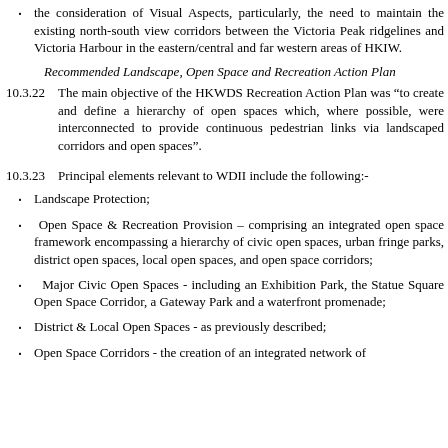the consideration of Visual Aspects, particularly, the need to maintain the existing north-south view corridors between the Victoria Peak ridgelines and Victoria Harbour in the eastern/central and far western areas of HKIW.
Recommended Landscape, Open Space and Recreation Action Plan
10.3.22 The main objective of the HKWDS Recreation Action Plan was “to create and define a hierarchy of open spaces which, where possible, were interconnected to provide continuous pedestrian links via landscaped corridors and open spaces”.
10.3.23 Principal elements relevant to WDII include the following:-
Landscape Protection;
Open Space & Recreation Provision – comprising an integrated open space framework encompassing a hierarchy of civic open spaces, urban fringe parks, district open spaces, local open spaces, and open space corridors;
Major Civic Open Spaces - including an Exhibition Park, the Statue Square Open Space Corridor, a Gateway Park and a waterfront promenade;
District & Local Open Spaces - as previously described;
Open Space Corridors - the creation of an integrated network of